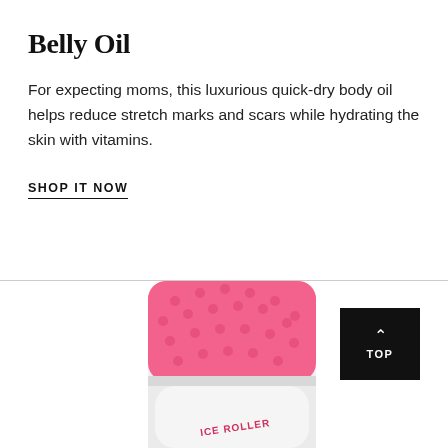Belly Oil
For expecting moms, this luxurious quick-dry body oil helps reduce stretch marks and scars while hydrating the skin with vitamins.
SHOP IT NOW
[Figure (photo): Pink ice roller beauty product (ICE ROLLER branded) shown diagonally, with a pink textured roller head and white handle, partially cropped at the bottom of the page.]
TOP